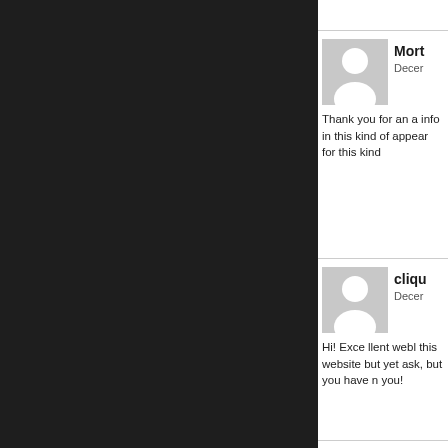[Figure (illustration): Dark/black left panel background]
Mort
Decer
Thank you for an a info in this kind of appear for this kind
clique
Decer
Hi! Exce llent webl this website but yet ask, but you have n you!
ugg
Decer